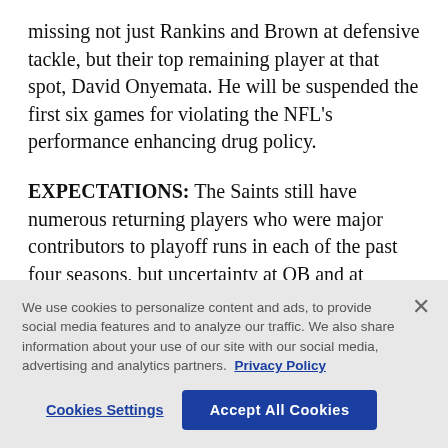missing not just Rankins and Brown at defensive tackle, but their top remaining player at that spot, David Onyemata. He will be suspended the first six games for violating the NFL's performance enhancing drug policy.
EXPECTATIONS: The Saints still have numerous returning players who were major contributors to playoff runs in each of the past four seasons, but uncertainty at QB and at several key spots on defense have left the club with far less depth. New Orleans
We use cookies to personalize content and ads, to provide social media features and to analyze our traffic. We also share information about your use of our site with our social media, advertising and analytics partners. Privacy Policy
Cookies Settings
Accept All Cookies